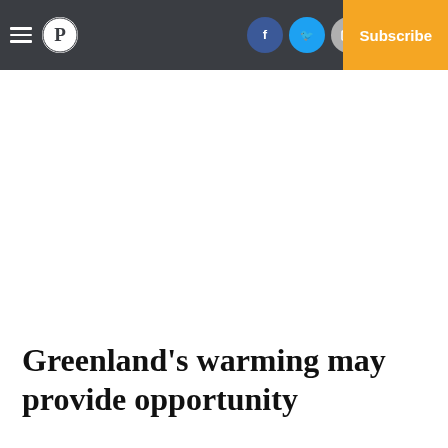Navigation bar with hamburger menu, P logo, Facebook, Twitter, Email social icons, Log In, Subscribe
Greenland's warming may provide opportunity